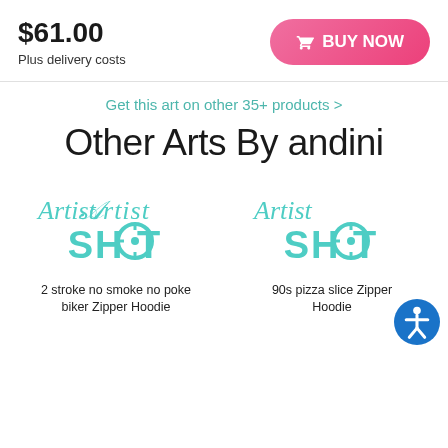$61.00
Plus delivery costs
BUY NOW
Get this art on other 35+ products >
Other Arts By andini
[Figure (logo): Artist Shot logo in teal/turquoise color — cursive 'Artist' over bold 'SHOT' text with crosshair icon in the O]
[Figure (logo): Artist Shot logo in teal/turquoise color — cursive 'Artist' over bold 'SHOT' text with crosshair icon in the O]
2 stroke no smoke no poke biker Zipper Hoodie
90s pizza slice Zipper Hoodie